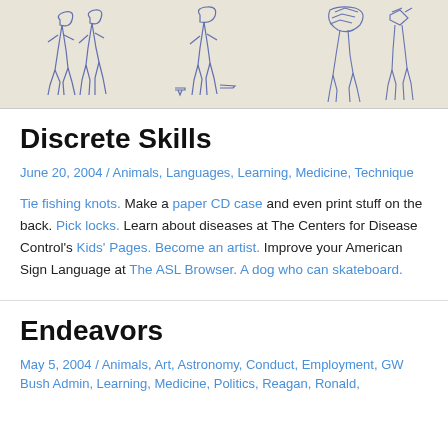[Figure (illustration): Sketchy blue pen drawings of animals/figures on beige paper background, shown as a horizontal strip at the top of the page]
Discrete Skills
June 20, 2004 / Animals, Languages, Learning, Medicine, Technique
Tie fishing knots. Make a paper CD case and even print stuff on the back. Pick locks. Learn about diseases at The Centers for Disease Control’s Kids’ Pages. Become an artist. Improve your American Sign Language at The ASL Browser. A dog who can skateboard.
Endeavors
May 5, 2004 / Animals, Art, Astronomy, Conduct, Employment, GW Bush Admin, Learning, Medicine, Politics, Reagan, Ronald,